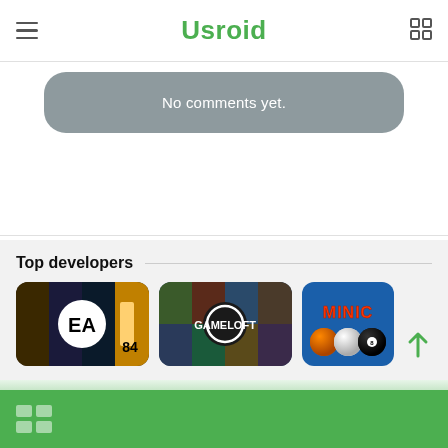Usroid
No comments yet.
Top developers
[Figure (screenshot): EA (Electronic Arts) developer banner showing multiple game covers with EA logo in center]
[Figure (screenshot): Gameloft developer banner showing multiple game covers with Gameloft logo in center]
[Figure (screenshot): Mini game developer banner with blue background showing MINIC text and billiard balls]